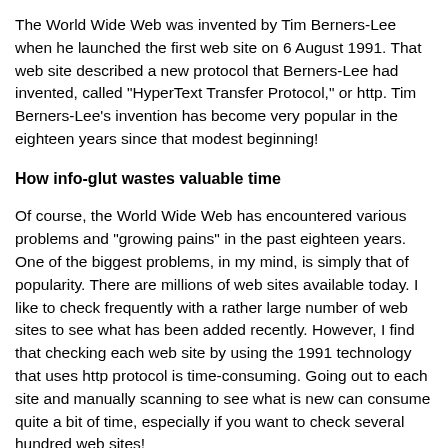The World Wide Web was invented by Tim Berners-Lee when he launched the first web site on 6 August 1991. That web site described a new protocol that Berners-Lee had invented, called "HyperText Transfer Protocol," or http. Tim Berners-Lee's invention has become very popular in the eighteen years since that modest beginning!
How info-glut wastes valuable time
Of course, the World Wide Web has encountered various problems and "growing pains" in the past eighteen years. One of the biggest problems, in my mind, is simply that of popularity. There are millions of web sites available today. I like to check frequently with a rather large number of web sites to see what has been added recently. However, I find that checking each web site by using the 1991 technology that uses http protocol is time-consuming. Going out to each site and manually scanning to see what is new can consume quite a bit of time, especially if you want to check several hundred web sites!
Luckily, there is a simple solution: skip the http and use RSS...